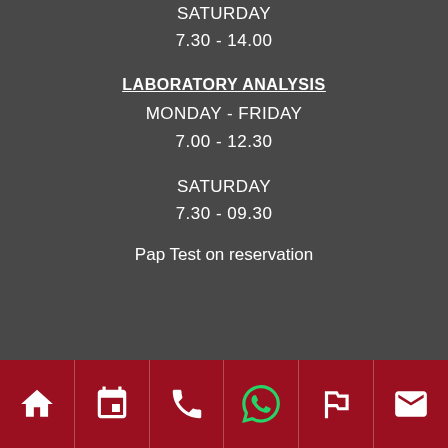SATURDAY
7.30 - 14.00
LABORATORY ANALYSIS
MONDAY - FRIDAY
7.00 - 12.30
SATURDAY
7.30 - 09.30
Pap Test on reservation
[Figure (other): Bottom navigation bar with 6 icons: home, calendar, phone, WhatsApp, navigation/fork, envelope/email — on dark red background]